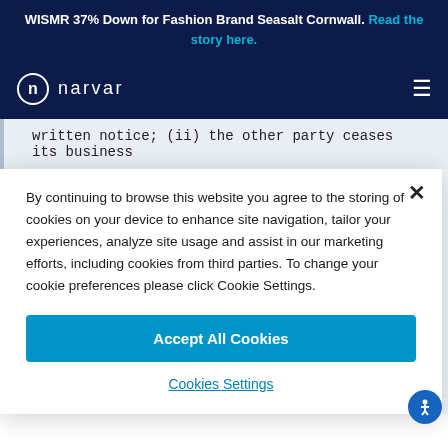WISMR 37% Down for Fashion Brand Seasalt Cornwall. Read the story here.
[Figure (logo): Narvar logo with circular icon and wordmark on dark navy background with hamburger menu icon]
written notice; (ii) the other party ceases its business
By continuing to browse this website you agree to the storing of cookies on your device to enhance site navigation, tailor your experiences, analyze site usage and assist in our marketing efforts, including cookies from third parties. To change your cookie preferences please click Cookie Settings.
Accept All Cookies
Cookies Settings